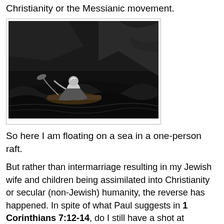Christianity or the Messianic movement.
[Figure (illustration): Black and white illustration of a figure floating on a raft at sea, with dramatic waves and rocky landscape in the background.]
So here I am floating on a sea in a one-person raft.
But rather than intermarriage resulting in my Jewish wife and children being assimilated into Christianity or secular (non-Jewish) humanity, the reverse has happened. In spite of what Paul suggests in 1 Corinthians 7:12-14, do I still have a shot at "saving" my wife and bringing her back to an understanding of Yeshua as the Messiah? That's up to God. When I talk to her, my wife's acceptance of the Chabad Rabbi's teachings seems absolute. She has entered into Judaism wholeheartedly and, out of her four siblings, she is the only one to truly be Jewish. Whatever her original connection to Christianity once was, faith in Christ has gone